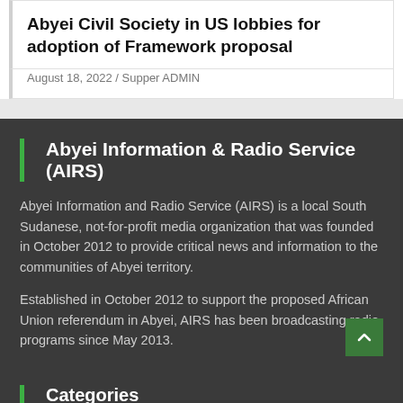Abyei Civil Society in US lobbies for adoption of Framework proposal
August 18, 2022 / Supper ADMIN
Abyei Information & Radio Service (AIRS)
Abyei Information and Radio Service (AIRS) is a local South Sudanese, not-for-profit media organization that was founded in October 2012 to provide critical news and information to the communities of Abyei territory.
Established in October 2012 to support the proposed African Union referendum in Abyei, AIRS has been broadcasting radio programs since May 2013.
Categories
Agriculture (16)